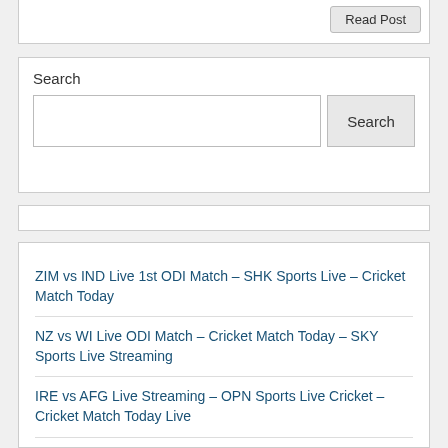[Figure (screenshot): Read Post button in top white box]
[Figure (screenshot): Search widget with text input and Search button]
[Figure (screenshot): Thin empty white box]
ZIM vs IND Live 1st ODI Match – SHK Sports Live – Cricket Match Today
NZ vs WI Live ODI Match – Cricket Match Today – SKY Sports Live Streaming
IRE vs AFG Live Streaming – OPN Sports Live Cricket – Cricket Match Today Live
England vs South Africa Live Test – Live Match Today – Willow TV Live
PAK vs NED Live Match Today – Live Cricket Match – SKY Sports Live